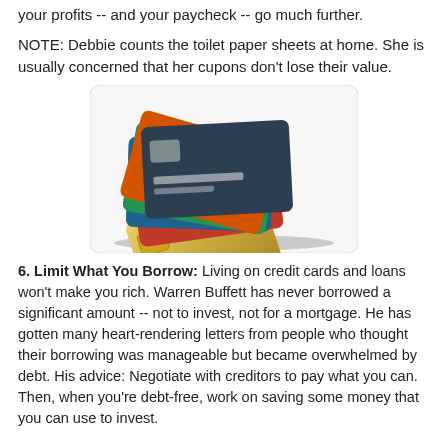your profits -- and your paycheck -- go much further.
NOTE: Debbie counts the toilet paper sheets at home. She is usually concerned that her cupons don't lose their value.
[Figure (photo): A large pile of colorful credit cards stacked on top of each other, on a white background with a subtle shadow.]
6. Limit What You Borrow: Living on credit cards and loans won't make you rich. Warren Buffett has never borrowed a significant amount -- not to invest, not for a mortgage. He has gotten many heart-rendering letters from people who thought their borrowing was manageable but became overwhelmed by debt. His advice: Negotiate with creditors to pay what you can. Then, when you're debt-free, work on saving some money that you can use to invest.